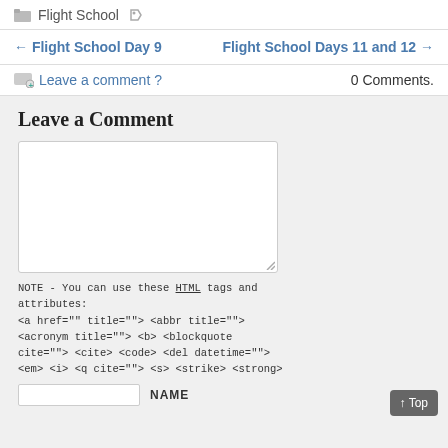Flight School
← Flight School Day 9    Flight School Days 11 and 12 →
Leave a comment ?    0 Comments.
Leave a Comment
NOTE - You can use these HTML tags and attributes: <a href="" title=""> <abbr title=""> <acronym title=""> <b> <blockquote cite=""> <cite> <code> <del datetime=""> <em> <i> <q cite=""> <s> <strike> <strong>
NAME